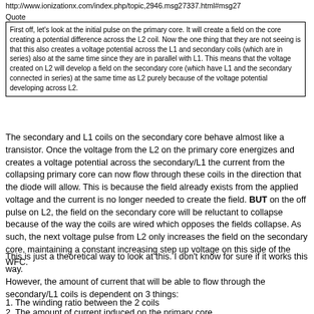http://www.ionizationx.com/index.php/topic,2946.msg27337.html#msg27
Quote
First off, let's look at the initial pulse on the primary core.  It will create a field on the core creating a potential difference across the L2 coil.   Now the one thing that they are not seeing is that this also creates a voltage potential across the L1 and secondary coils (which are in series) also at the same time since they are in parallel with L1.  This means that the voltage created on L2  will develop a field on the secondary core (which have L1 and the secondary connected in series) at the same time as L2 purely because of the voltage potential developing across L2.
The secondary and L1 coils on the secondary core behave almost like a transistor.  Once the voltage from the L2 on the primary core energizes and creates a voltage potential across the secondary/L1 the current from the collapsing primary core can now flow through these coils in the direction that the diode will allow.  This is because the field already exists from the applied voltage and the current is no longer needed to create the field.  BUT on the off pulse on L2, the field on the secondary core will be reluctant to collapse because of the way the coils are wired which opposes the fields collapse.  As such, the next voltage pulse from L2 only increases the field on the secondary core, maintaining a constant increasing step up voltage on this side of the WFC.
This is just a theoretical way to look at this.  I don't know for sure if it works this way.
However, the amount of current that will be able to flow through the secondary/L1 coils is dependent on 3 things:
1. The winding ratio between the 2 coils
2. The amount of current induced on the primary core.